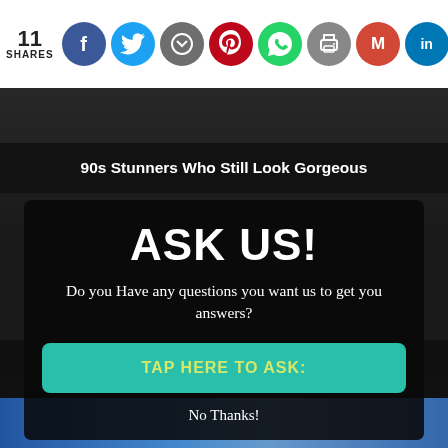11 SHARES
[Figure (infographic): Social sharing icons row: Facebook, Twitter, Messenger, Pinterest, WhatsApp, Print, Gmail, LinkedIn, Google]
90s Stunners Who Still Look Gorgeous
ASK US!
Do you Have any questions you want us to get you answers?
TAP HERE TO ASK:
No Thanks!
This Is Why Plus-Size Models Should Always Be An Inspiration
[Figure (photo): Partial photo thumbnail at bottom of page, blue-toned image]